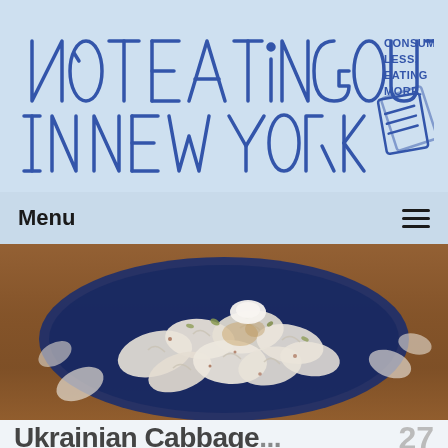[Figure (logo): Not Eating Out in New York logo — hand-drawn block letters in blue outline on light blue background, with tagline 'CONSUMING LESS, EATING MORE.' and a sketched book/newspaper icon]
Menu
[Figure (photo): Overhead close-up photo of dumplings (varenyky or similar) piled in a dark blue bowl on a wooden table, garnished with herbs and sauce]
Ukrainian Cabbage...